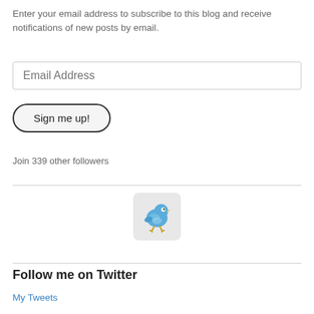Enter your email address to subscribe to this blog and receive notifications of new posts by email.
[Figure (screenshot): Email address input field with placeholder text 'Email Address']
[Figure (screenshot): Button labeled 'Sign me up!' with rounded pill shape and dark border]
Join 339 other followers
[Figure (illustration): Twitter bird icon — a blue cartoon bird in a light gray rounded-square button]
Follow me on Twitter
My Tweets